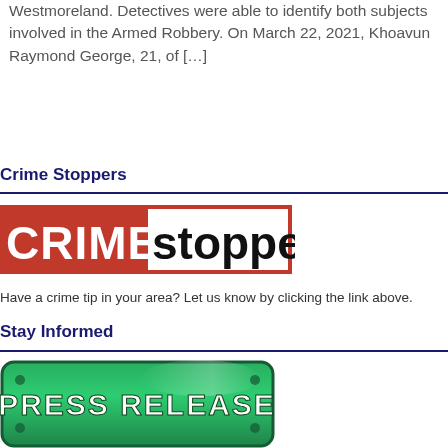Westmoreland. Detectives were able to identify both subjects involved in the Armed Robbery. On March 22, 2021, Khoavun Raymond George, 21, of […]
Crime Stoppers
[Figure (logo): Crime Stoppers logo with red box around CRIME and black text 'stoppers']
Have a crime tip in your area? Let us know by clicking the link above.
Stay Informed
[Figure (illustration): Green street sign style image reading PRESS RELEASE in white bold text]